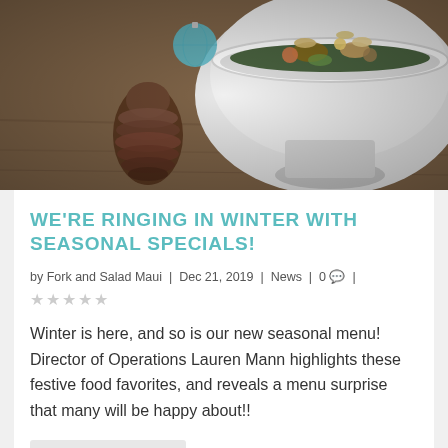[Figure (photo): Photo of a white ceramic bowl filled with a grain salad with mixed vegetables, nuts, and greens, with a pine cone and a small globe ornament in the background on a wooden surface.]
WE'RE RINGING IN WINTER WITH SEASONAL SPECIALS!
by Fork and Salad Maui | Dec 21, 2019 | News | 0 💬 |
★★★★★
Winter is here, and so is our new seasonal menu! Director of Operations Lauren Mann highlights these festive food favorites, and reveals a menu surprise that many will be happy about!!
READ MORE